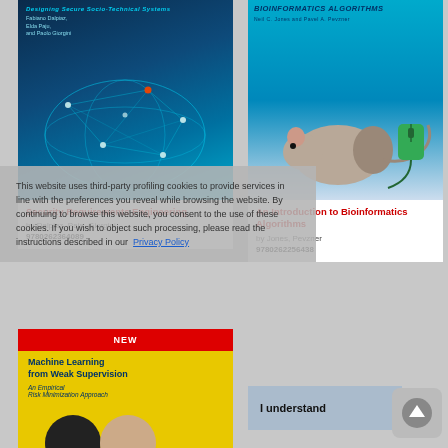[Figure (illustration): Book cover: Security Requirements Engineering - Designing Secure Socio-Technical Systems by Fabiano Dalpiaz, Elda Paja, and Paolo Giorgini. Dark blue cover with network globe illustration.]
Security Requirements Engineering
by Dalpiaz, Paja, Giorgini
9780262364089
[Figure (illustration): Book cover: An Introduction to Bioinformatics Algorithms by Neil C. Jones and Pavel A. Pevzner. Light blue cover with image of a mouse connected to a computer mouse.]
An Introduction to Bioinformatics Algorithms
by Jones, Pevzner
9780262256438
[Figure (illustration): Book cover: Machine Learning from Weak Supervision - An Empirical Risk Minimization Approach. Yellow cover with red NEW banner.]
Machine Learning from Weak Supervision
An Empirical Risk Minimization Approach
This website uses third-party profiling cookies to provide services in line with the preferences you reveal while browsing the website. By continuing to browse this website, you consent to the use of these cookies. If you wish to object such processing, please read the instructions described in our  Privacy Policy
I understand